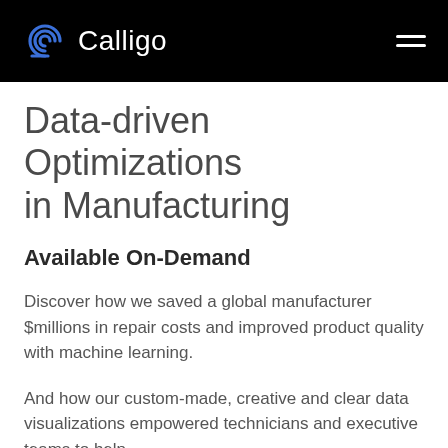Calligo
Data-driven Optimizations in Manufacturing
Available On-Demand
Discover how we saved a global manufacturer $millions in repair costs and improved product quality with machine learning.
And how our custom-made, creative and clear data visualizations empowered technicians and executive teams to help